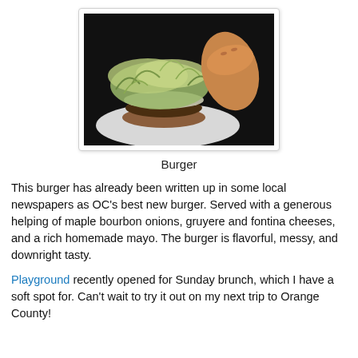[Figure (photo): A burger on a white plate, topped with shredded lettuce and melted cheese, with a toasted bun visible on the right side. Photo has a dark background.]
Burger
This burger has already been written up in some local newspapers as OC's best new burger. Served with a generous helping of maple bourbon onions, gruyere and fontina cheeses, and a rich homemade mayo. The burger is flavorful, messy, and downright tasty.
Playground recently opened for Sunday brunch, which I have a soft spot for. Can't wait to try it out on my next trip to Orange County!